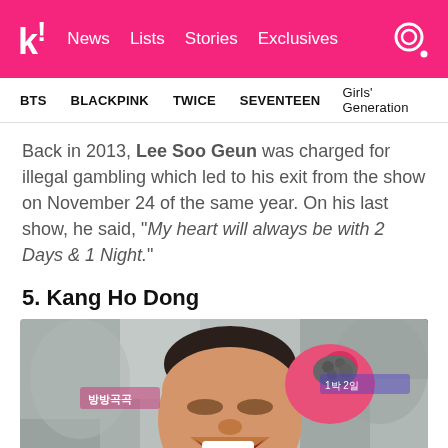k! News Lists Stories Exclusives
BTS   BLACKPINK   TWICE   SEVENTEEN   Girls' Generation
Back in 2013, Lee Soo Geun was charged for illegal gambling which led to his exit from the show on November 24 of the same year. On his last show, he said, “My heart will always be with 2 Days & 1 Night.”
5. Kang Ho Dong
[Figure (photo): Photo of Kang Ho Dong smiling and laughing, holding something in a pink glove, outdoors rocky background, Korean TV show overlay text visible]